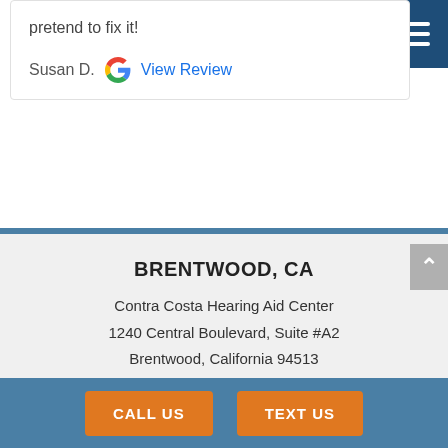pretend to fix it!
Susan D.  View Review
BRENTWOOD, CA
Contra Costa Hearing Aid Center
1240 Central Boulevard, Suite #A2
Brentwood, California 94513
Call or text: 925-202-8144
CALL US
TEXT US